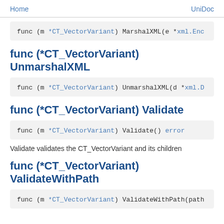Home    UniDoc
func (m *CT_VectorVariant) MarshalXML(e *xml.Enc
func (*CT_VectorVariant) UnmarshalXML
func (m *CT_VectorVariant) UnmarshalXML(d *xml.D
func (*CT_VectorVariant) Validate
func (m *CT_VectorVariant) Validate() error
Validate validates the CT_VectorVariant and its children
func (*CT_VectorVariant) ValidateWithPath
func (m *CT_VectorVariant) ValidateWithPath(path